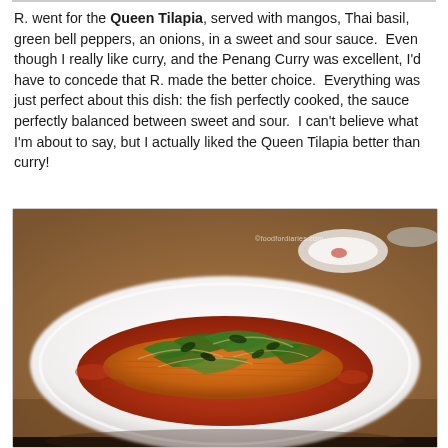R. went for the Queen Tilapia, served with mangos, Thai basil, green bell peppers, an onions, in a sweet and sour sauce.  Even though I really like curry, and the Penang Curry was excellent, I'd have to concede that R. made the better choice.  Everything was just perfect about this dish: the fish perfectly cooked, the sauce perfectly balanced between sweet and sour.  I can't believe what I'm about to say, but I actually liked the Queen Tilapia better than curry!
[Figure (photo): A white oval serving dish containing tilapia fish in a red-orange sweet and sour sauce, topped with green bell peppers, Thai basil, and onions, placed on a wooden surface. A small white dish is visible in the background. Watermark reads ©foodfordiaries.com]